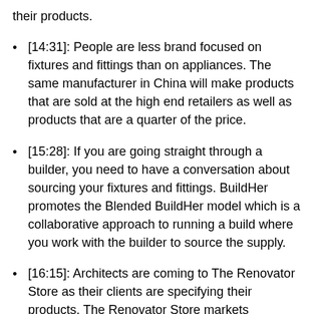their products.
[14:31]: People are less brand focused on fixtures and fittings than on appliances. The same manufacturer in China will make products that are sold at the high end retailers as well as products that are a quarter of the price.
[15:28]: If you are going straight through a builder, you need to have a conversation about sourcing your fixtures and fittings. BuildHer promotes the Blended BuildHer model which is a collaborative approach to running a build where you work with the builder to source the supply.
[16:15]: Architects are coming to The Renovator Store as their clients are specifying their products. The Renovator Store markets